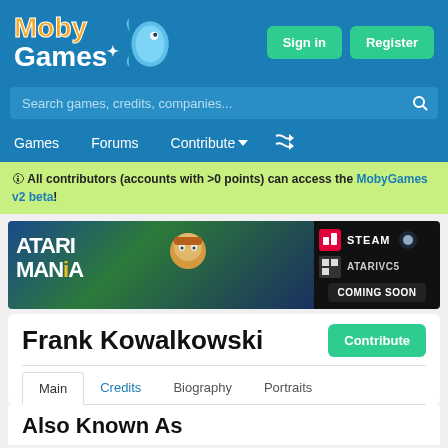MobyGames
Search games, credits, companies...
Games  Forums  Contribute  [shuffle]
🛈 All contributors (accounts with >0 points) can access the MobyGames v2 beta!
[Figure (screenshot): Atari Mania game advertisement banner with characters, game logo, Nintendo Switch icon, Steam icon, Atarivc5 logo, and COMING SOON button]
Frank Kowalkowski
Main  Credits  Biography  Portraits
Also Known As